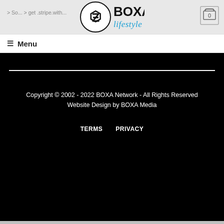[Figure (logo): BOXA Lifestyle logo with circular badge containing a stylized Z/B mark, bold BOXA text, and italic blue lifestyle script]
> So...
> get .stripe.with...
[Figure (other): Shopping cart icon with 0 badge]
☰ Menu
Copyright © 2002 - 2022 BOXA Network - All Rights Reserved
Website Design by BOXA Media
TERMS   PRIVACY